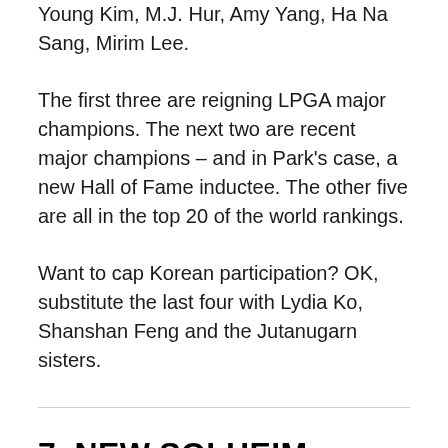Young Kim, M.J. Hur, Amy Yang, Ha Na Sang, Mirim Lee.
The first three are reigning LPGA major champions. The next two are recent major champions – and in Park's case, a new Hall of Fame inductee. The other five are all in the top 20 of the world rankings.
Want to cap Korean participation? OK, substitute the last four with Lydia Ko, Shanshan Feng and the Jutanugarn sisters.
7. NEW SOLHEIM BLOOD
Then again, it probably doesn't help perception when you also think of this and by Solheim Cup